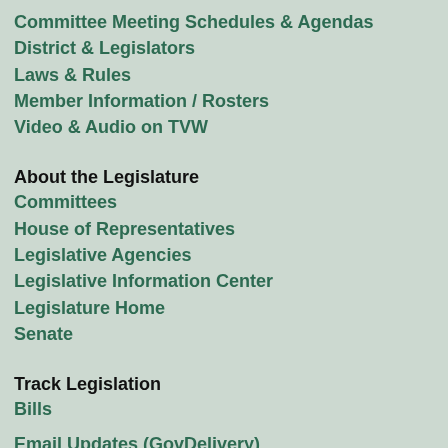Committee Meeting Schedules & Agendas
District & Legislators
Laws & Rules
Member Information / Rosters
Video & Audio on TVW
About the Legislature
Committees
House of Representatives
Legislative Agencies
Legislative Information Center
Legislature Home
Senate
Track Legislation
Bills
Email Updates (GovDelivery)